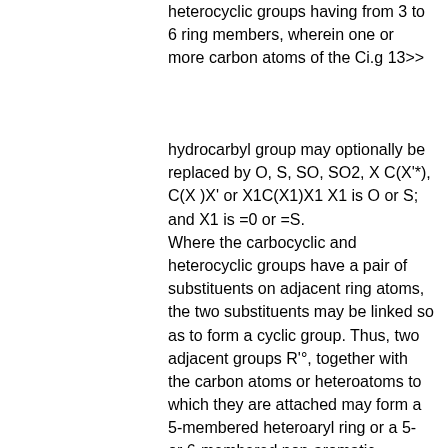heterocyclic groups having from 3 to 6 ring members, wherein one or more carbon atoms of the Ci.g 13>>
hydrocarbyl group may optionally be replaced by O, S, SO, SO2, X C(X'*), C(X )X' or X1C(X1)X1 X1 is O or S; and X1 is =0 or =S. Where the carbocyclic and heterocyclic groups have a pair of substituents on adjacent ring atoms, the two substituents may be linked so as to form a cyclic group. Thus, two adjacent groups R'°, together with the carbon atoms or heteroatoms to which they are attached may form a 5-membered heteroaryl ring or a 5- or 6-membered non-aromatic carbocyclic or heterocyclic ring, wherein the said heteroaryl and heterocyclic groups contain up to 3 heteroatom ring members selected from N, O and S. In particular the two adjacent groups R'*1, together with the carbon atoms or heteroatoms to which they are attached, may form a 6-membered non-aromatic heterocyclic ring, containing up to 3, in particular 2, heteroatom ring members selected from N, O and S. More particularly the two adjacent groups R'° may form a 6-membered non-